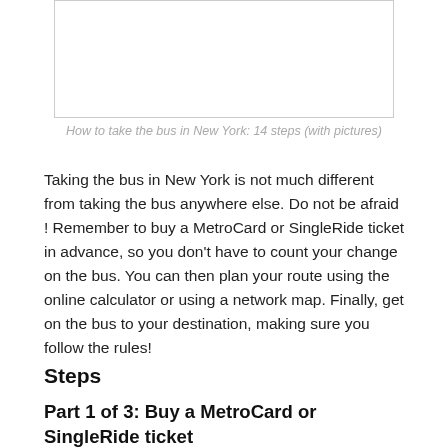[Figure (photo): Empty white image box representing a photo placeholder for how to take the bus in New York]
How to take the bus in New York: 14 steps (with pictures)
Taking the bus in New York is not much different from taking the bus anywhere else. Do not be afraid ! Remember to buy a MetroCard or SingleRide ticket in advance, so you don't have to count your change on the bus. You can then plan your route using the online calculator or using a network map. Finally, get on the bus to your destination, making sure you follow the rules!
Steps
Part 1 of 3: Buy a MetroCard or SingleRide ticket